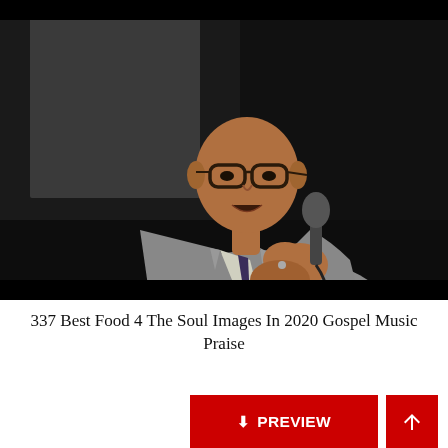[Figure (photo): A bald man wearing glasses and a grey suit with a dark tie, speaking into a microphone, photographed against a dark background.]
337 Best Food 4 The Soul Images In 2020 Gospel Music Praise